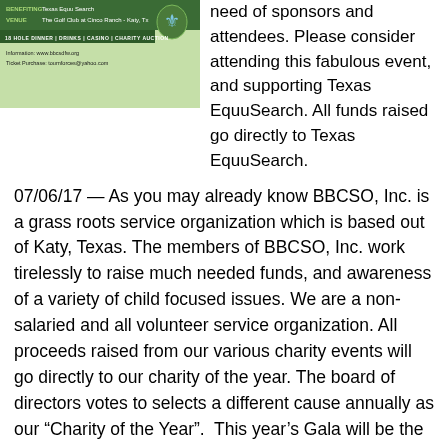[Figure (illustration): A golf charity event flyer for Texas EquuSearch at The Golf Club at Cinco Ranch, Katy, TX, with a green background, Boy Scouts logo, and event details in white text on a dark green bar.]
need of sponsors and attendees. Please consider attending this fabulous event, and supporting Texas EquuSearch. All funds raised go directly to Texas EquuSearch.
07/06/17 — As you may already know BBCSO, Inc. is a grass roots service organization which is based out of Katy, Texas. The members of BBCSO, Inc. work tirelessly to raise much needed funds, and awareness of a variety of child focused issues. We are a non-salaried and all volunteer service organization. All proceeds raised from our various charity events will go directly to our charity of the year. The board of directors votes to selects a different cause annually as our “Charity of the Year”.  This year’s Gala will be the fourth event for Texas Equu Search. This year the issues of child abduction